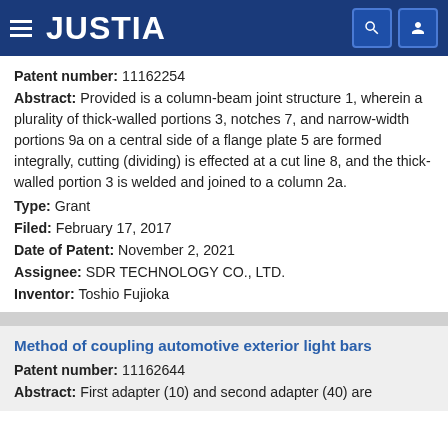JUSTIA
Patent number: 11162254
Abstract: Provided is a column-beam joint structure 1, wherein a plurality of thick-walled portions 3, notches 7, and narrow-width portions 9a on a central side of a flange plate 5 are formed integrally, cutting (dividing) is effected at a cut line 8, and the thick-walled portion 3 is welded and joined to a column 2a.
Type: Grant
Filed: February 17, 2017
Date of Patent: November 2, 2021
Assignee: SDR TECHNOLOGY CO., LTD.
Inventor: Toshio Fujioka
Method of coupling automotive exterior light bars
Patent number: 11162644
Abstract: First adapter (10) and second adapter (40) are